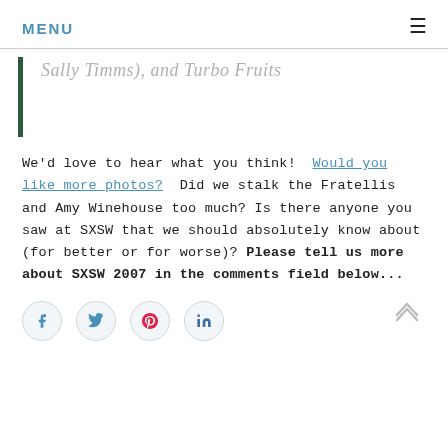MENU
Sally Timms), and Turbo Fruits
We'd love to hear what you think!  Would you like more photos?  Did we stalk the Fratellis and Amy Winehouse too much? Is there anyone you saw at SXSW that we should absolutely know about (for better or for worse)? Please tell us more about SXSW 2007 in the comments field below...
[Figure (other): Social sharing buttons: Facebook, Twitter, Pinterest, LinkedIn icons in circular outlines, and a scroll-to-top chevron button on the right]